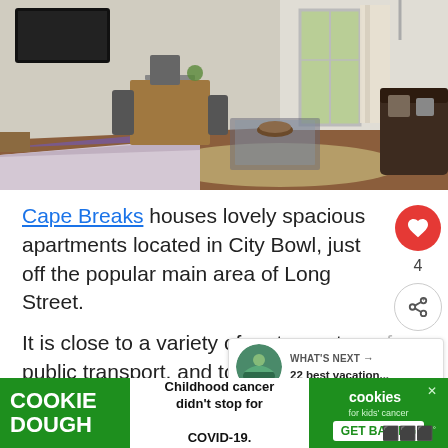[Figure (photo): Interior photo of a hotel apartment room showing a bed with purple/lavender throw, glass coffee table, dark sofa, wooden dining table with chairs, and glass balcony doors with garden view]
Cape Breaks houses lovely spacious apartments located in City Bowl, just off the popular main area of Long Street.
It is close to a variety of restaurants, cafes, public transport, and tourist attractions. The Hop-on-Hop-Off city tour is an easy way to see the co...
[Figure (screenshot): WHAT'S NEXT widget showing '22 best vacation...' with a scenic image]
[Figure (screenshot): Cookie Dough advertisement banner: 'Childhood cancer didn't stop for COVID-19. cookies for kids cancer GET BAKING']